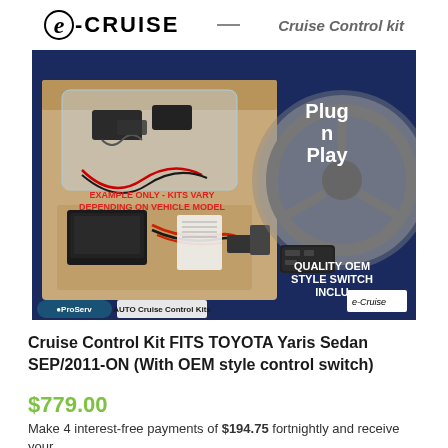[Figure (logo): e-CRUISE logo with circular 'e' and text 'CRUISE' followed by a horizontal line and 'Cruise Control kit' subtitle]
[Figure (photo): Product photo of an e-CRUISE cruise control kit box containing wiring harness, control module, and OEM-style steering column switch. Blue background with text 'Plug n Play', 'EXAMPLE ONLY - KITS VARY DEPENDING ON VEHICLE MODEL' in red, 'QUALITY OEM STYLE SWITCH INCLU...' in white. ProSpec and AUTO logos at bottom.]
Cruise Control Kit FITS TOYOTA Yaris Sedan SEP/2011-ON (With OEM style control switch)
$779.00
Make 4 interest-free payments of $194.75 fortnightly and receive your